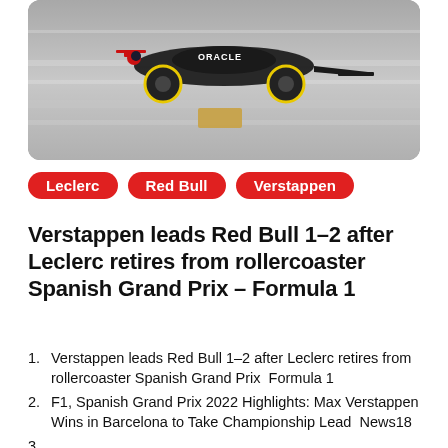[Figure (photo): Red Bull Formula 1 car racing on track, motion-blurred background, ORACLE livery visible on car]
Leclerc | Red Bull | Verstappen
Verstappen leads Red Bull 1-2 after Leclerc retires from rollercoaster Spanish Grand Prix - Formula 1
Verstappen leads Red Bull 1-2 after Leclerc retires from rollercoaster Spanish Grand Prix  Formula 1
F1, Spanish Grand Prix 2022 Highlights: Max Verstappen Wins in Barcelona to Take Championship Lead  News18